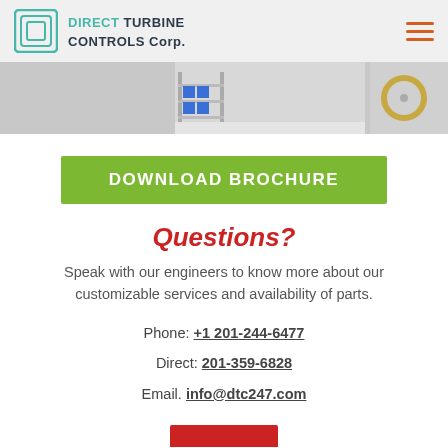DIRECT TURBINE CONTROLS Corp.
[Figure (photo): Warehouse shelving with blue storage bins and industrial reels]
DOWNLOAD BROCHURE
Questions?
Speak with our engineers to know more about our customizable services and availability of parts.
Phone: +1 201-244-6477
Direct: 201-359-6828
Email. info@dtc247.com